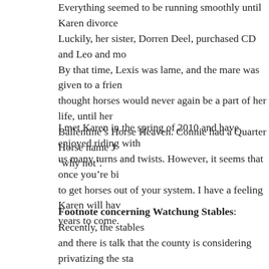Everything seemed to be running smoothly until Karen divorced. Luckily, her sister, Dorren Deel, purchased CD and Leo and mo. By that time, Lexis was lame, and the mare was given to a frien. thought horses would never again be a part of her life, until her Ballentine's Horse Heaven. Connie had a Quarter Horse name J 'why not'.
I met Karen in the spring of 2010 and have enjoyed riding with us many turns and twists. However, it seems that once you're bi to get horses out of your system. I have a feeling Karen will hav years to come.
Footnote concerning Watchung Stables: Recently, the stables and there is talk that the county is considering privatizing the sta the wonderful and unique opportunity youngsters in the county idea of a stable which brings the joy of horseback riding to the p If you are interested in finding out more about what's going on a http://www.nj.com/independentpress/index.ssf/2010/02/union_c your support by joining the Facebook group to save the county s